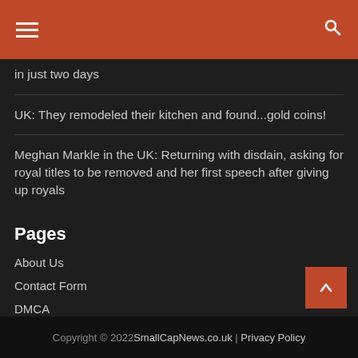SmallCapNews.co.uk header with hamburger menu and search icon
in just two days
UK: They remodeled their kitchen and found...gold coins!
Meghan Markle in the UK: Returning with disdain, asking for royal titles to be removed and her first speech after giving up royals
Pages
About Us
Contact Form
DMCA
Privacy Policy
Copyright © 2022 SmallCapNews.co.uk | Privacy Policy